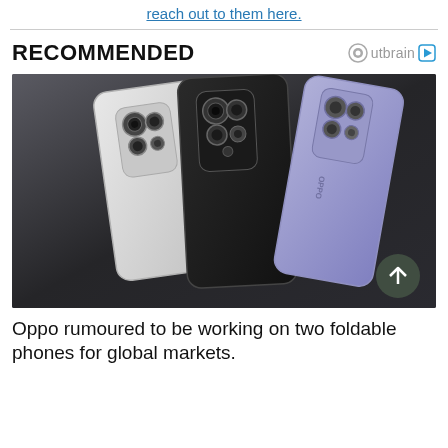reach out to them here.
[Figure (photo): Three OPPO smartphones shown from the back, floating against a dark grey/black gradient background. Left phone is white/silver, center phone is black, right phone is lavender/purple. All show multi-camera systems.]
Oppo rumoured to be working on two foldable phones for global markets.